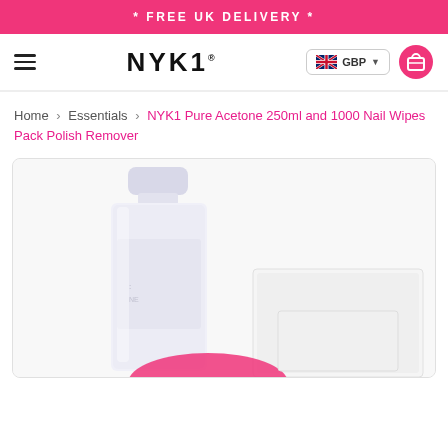* FREE UK DELIVERY *
[Figure (screenshot): NYK1 website navigation bar with hamburger menu, NYK1 logo, GBP currency selector, and shopping cart icon]
Home › Essentials › NYK1 Pure Acetone 250ml and 1000 Nail Wipes Pack Polish Remover
[Figure (photo): Product photo showing NYK1 Pure Acetone bottle (white, tall) and nail wipes packaging on a light background]